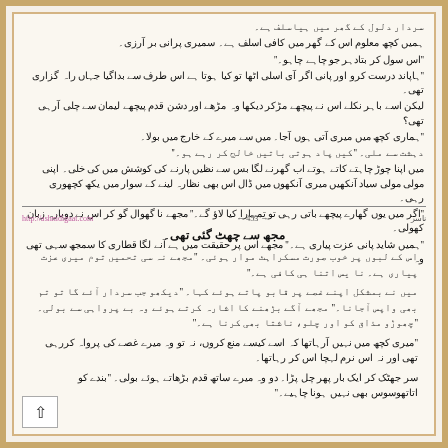سردار دلول کے گھر میں ہیاسلف ہے۔ ہمیں کچھ معلوم اس کے گھر میں کافی اسلف ہے۔ سمیری پرانی بر آرزی۔ اس سول کر بتادہر جو چاہے چاہو۔ ہاپاند درست کرو اور پانی اگر آی اسلی اٹھا تو کیا ہوتا ہے اس طرف سے بداگیا جہاں راہ گزاری تھی۔ لیکن اسے باہر نکلے اس نے پیچھے مڑ کر دیکھا وہ مڑھے اور دشن قدم پیچھے لیمان سے چلی آرہی تھی۔ ہماری کچھ میں میری آتی ہوں آجا۔ میں سے میرے کے خارج میں بولا۔ دہشت سے مل۔ ''کیں پاد ہوتی باتیں خالج کر رہے ہو۔ میں اپنا چوڑ چاہتے کاتے ہوتے اب گھرنے لگا بس سے نظیں پارنے کی کوشش میں کی خلی۔ اپنی مولی مولی سیاد آنکھیں میری آنکھوں میں ڈال اس بھی نظارہ لینے کے سوار میں یکھ کچھوری رہی۔ اگر میں یوں گھارے پیچھے باتی رہی تو تمہارا کیا لاؤ گے۔ مجھے نا گھوال گو کر اس نے دوبارہ زبان کھولی۔ ہمیں شاید پانی عزت پیاری ہے۔ مجھے اس پر حقیقت میں ہے آنے لگا قطاری کا سمجھ سہی تھی۔
http://ashnidigaat.com   ← 453 →   ناسر
مجھ سے چھٹ گئی تھی۔
اس کے لبوں پر خوب صورت مسکراہٹ موار ہوئی۔ ''مجھے نہ سی تحمیں توم میری عزت پیاری ہے۔ نا یس اتنا ہی کافی ہے۔''
میں نے بمشکل اپنے غصے پر قابو پاتے ہوئے کہا۔ ''دیکھو جب سردار آئے گا تو تم بھی واپس آجانا۔'' مجھے آگے بڑھنے کا اشارہ کرتے ہوئے وہ بے پرواہی سے بولی۔ ''چھوڑو مذاق کو اور چلو، ناشتا بھی کرنا ہے۔''
''میری کچھ میں نہیں آرہاتھا کہ اسے کیسے منع کروں، نہ تو وہ میرے غصے کی پرواہ کررہی تھی اور نہ اس نرم لہچا اس کر رہاتھا۔
سر جھٹک کر ایک بار پھر چل پڑا۔ دو وہ میرے ساتھ قدم بڑھاتے ہوئے بولی۔ ''بندے کو اتاتھوسوس بھی نہیں ہونا چاہیے۔''